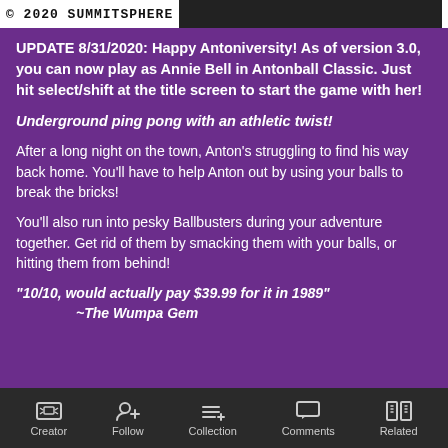© 2020 SUMMITSPHERE
UPDATE 8/31/2020: Happy Antoniversity! As of version 3.0, you can now play as Annie Bell in Antonball Classic. Just hit select/shift at the title screen to start the game with her!
Underground ping pong with an athletic twist!
After a long night on the town, Anton's struggling to find his way back home. You'll have to help Anton out by using your balls to break the bricks!
You'll also run into pesky Ballbusters during your adventure together. Get rid of them by smacking them with your balls, or hitting them from behind!
"10/10, would actually pay $39.99 for it in 1989"
~The Wumpa Gem
Creator  Follow  Collection  Comments  Related